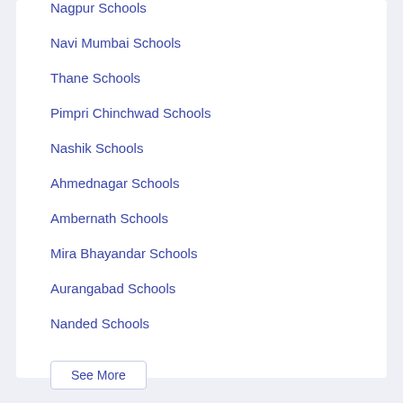Nagpur Schools
Navi Mumbai Schools
Thane Schools
Pimpri Chinchwad Schools
Nashik Schools
Ahmednagar Schools
Ambernath Schools
Mira Bhayandar Schools
Aurangabad Schools
Nanded Schools
See More